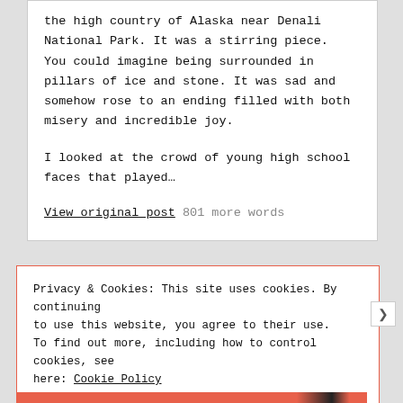the high country of Alaska near Denali National Park. It was a stirring piece. You could imagine being surrounded in pillars of ice and stone. It was sad and somehow rose to an ending filled with both misery and incredible joy.
I looked at the crowd of young high school faces that played…
View original post 801 more words
Privacy & Cookies: This site uses cookies. By continuing to use this website, you agree to their use. To find out more, including how to control cookies, see here: Cookie Policy